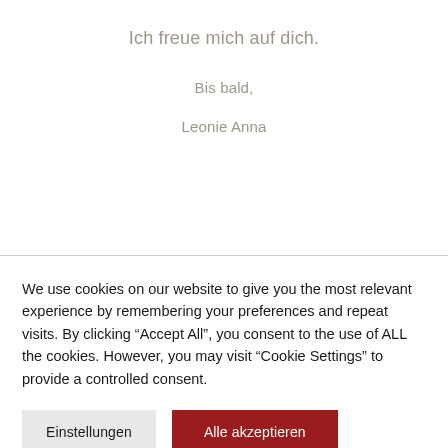Ich freue mich auf dich.
Bis bald,
Leonie Anna
We use cookies on our website to give you the most relevant experience by remembering your preferences and repeat visits. By clicking “Accept All”, you consent to the use of ALL the cookies. However, you may visit “Cookie Settings” to provide a controlled consent.
Einstellungen
Alle akzeptieren